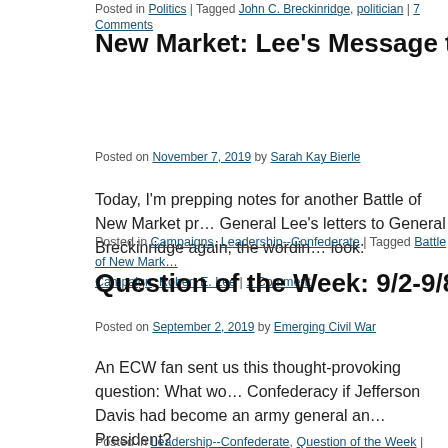Posted in Politics | Tagged John C. Breckinridge, politician | 7 Comments
New Market: Lee’s Message to Breckinri…
Posted on November 7, 2019 by Sarah Kay Bierle
Today, I’m prepping notes for another Battle of New Market pr… General Lee’s letters to General Breckinridge again, the wordin… look:
Posted in Campaigns, Leadership--Confederate | Tagged Battle of New Mark… Campaign, Robert E. Lee | 1 Comment
Question of the Week: 9/2-9/8/19
Posted on September 2, 2019 by Emerging Civil War
An ECW fan sent us this thought-provoking question: What wo… Confederacy if Jefferson Davis had become an army general an… President?
Posted in Leadership--Confederate, Question of the Week | Tagged Jefferso…